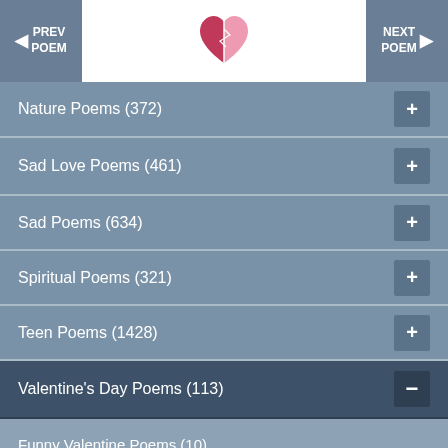PREV POEM | [logo] | NEXT POEM
Nature Poems (372)
Sad Love Poems (461)
Sad Poems (634)
Spiritual Poems (321)
Teen Poems (1428)
Valentine's Day Poems (113)
Funny Valentine Poems (10)
Husband Valentine Poems (9)
Romantic Valentine Poems (27)
Short Valentine Poems (15)
Valentine Poems For Her (16)